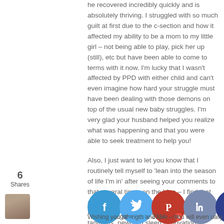he recovered incredibly quickly and is absolutely thriving. I struggled with so much guilt at first due to the c-section and how it affected my ability to be a mom to my little girl – not being able to play, pick her up (still), etc but have been able to come to terms with it now. I'm lucky that I wasn't affected by PPD with either child and can't even imagine how hard your struggle must have been dealing with those demons on top of the usual new baby struggles. I'm very glad your husband helped you realize what was happening and that you were able to seek treatment to help you!
Also, I just want to let you know that I routinely tell myself to 'lean into the season of life I'm in' after seeing your comments to that several times on the blog – I find that always helps me in whatever aspect of life I'm dealing with, whether it be toddler tantrums, newborn sleep deprivation or juggling work & motherhood at the same time. It is such a helpful mantra to me.
Reply
6 Shares
…galw  September 2018  …m  Wishing you strength and love – you will eventually heal fro…